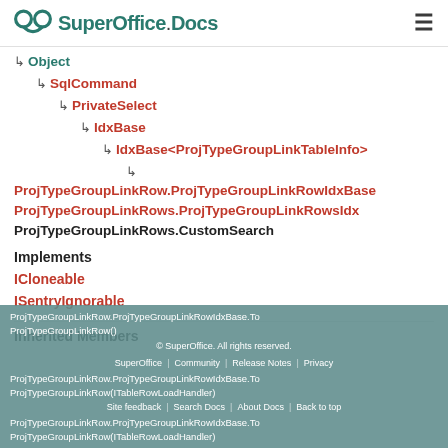SuperOffice.Docs
↳ Object
↳ SqlCommand
↳ PrivateSelect
↳ IdxBase
↳ IdxBase<ProjTypeGroupLinkTableInfo>
↳ ProjTypeGroupLinkRow.ProjTypeGroupLinkRowIdxBase
ProjTypeGroupLinkRows.ProjTypeGroupLinkRowsIdx
ProjTypeGroupLinkRows.CustomSearch
Implements
ICloneable
ISentryIgnorable
Inherited Members
ProjTypeGroupLinkRow.ProjTypeGroupLinkRowIdxBase.ToProjTypeGroupLinkRow() | ProjTypeGroupLinkRow.ProjTypeGroupLinkRowIdxBase.ToProjTypeGroupLinkRow(ITableRowLoadHandler) | © SuperOffice. All rights reserved. | Community | Release Notes | Privacy | Site feedback | Search Docs | About Docs | Back to top